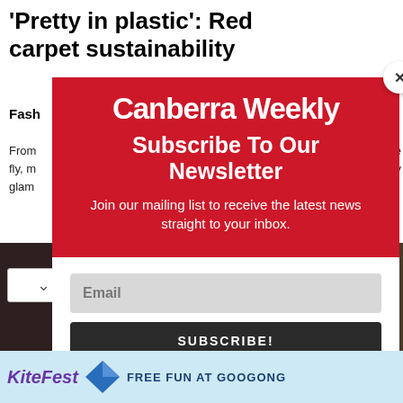'Pretty in plastic': Red carpet sustainability
Fashion
From … the fly, m … erly glam…
[Figure (screenshot): Canberra Weekly newsletter subscription modal popup overlay on an article page. Red header with 'Canberra Weekly' logo, 'Subscribe To Our Newsletter' heading, body text 'Join our mailing list to receive the latest news straight to your inbox.', email input field, and SUBSCRIBE! button. Close X button top right.]
[Figure (photo): Background photo of a dark red carpet scene, partially obscured by the modal overlay.]
[Figure (infographic): KiteFest advertisement banner: 'FREE FUN AT GOOGONG' with kite graphic on light blue background.]